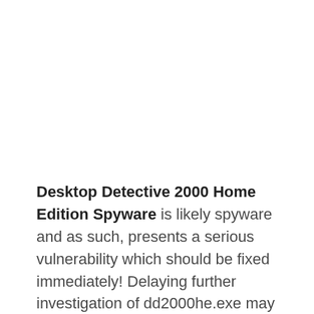Desktop Detective 2000 Home Edition Spyware is likely spyware and as such, presents a serious vulnerability which should be fixed immediately! Delaying further investigation of dd2000he.exe may cause serious harm to your system and will likely cause a number of